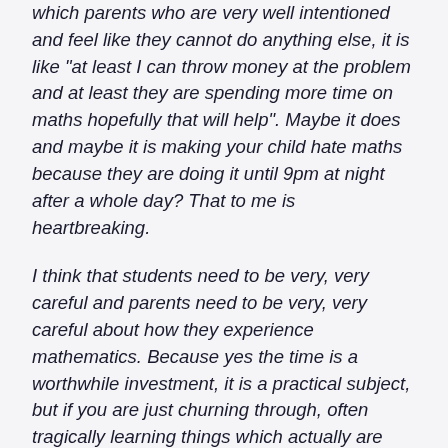which parents who are very well intentioned and feel like they cannot do anything else, it is like "at least I can throw money at the problem and at least they are spending more time on maths hopefully that will help". Maybe it does and maybe it is making your child hate maths because they are doing it until 9pm at night after a whole day? That to me is heartbreaking.
I think that students need to be very, very careful and parents need to be very, very careful about how they experience mathematics. Because yes the time is a worthwhile investment, it is a practical subject, but if you are just churning through, often tragically learning things which actually are just machine processes. I have students come to me and they say "I can differentiate, I am really good at that. I am only fifteen years old". You